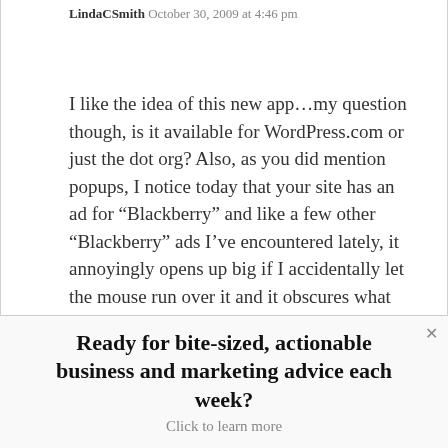LindaCSmith  October 30, 2009 at 4:46 pm
I like the idea of this new app…my question though, is it available for WordPress.com or just the dot org? Also, as you did mention popups, I notice today that your site has an ad for “Blackberry” and like a few other “Blackberry” ads I’ve encountered lately, it annoyingly opens up big if I accidentally let the mouse run over it and it obscures what I’m trying to read. I like reading blogs for their content not for their ads.
Ready for bite-sized, actionable business and marketing advice each week?
Click to learn more